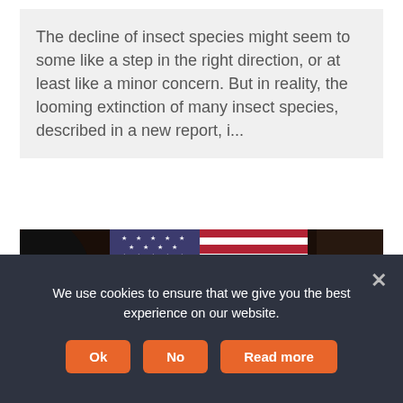The decline of insect species might seem to some like a step in the right direction, or at least like a minor concern. But in reality, the looming extinction of many insect species, described in a new report, i...
[Figure (photo): A politician speaking at a podium in front of a large American flag, with two other officials seated behind him in a formal hall.]
We use cookies to ensure that we give you the best experience on our website.